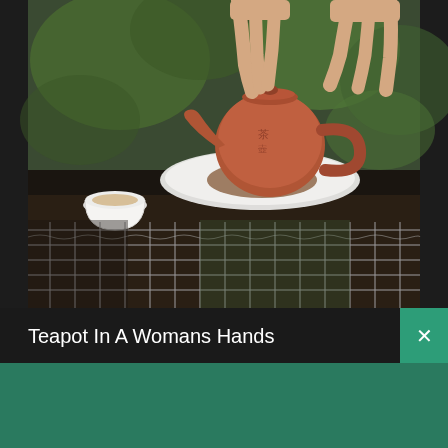[Figure (photo): A woman's hands holding a clay Chinese teapot on a white ceramic plate/saucer, with a small white teacup to the left, green foliage in background, and metal wire mesh/grid in foreground, on a dark wooden surface]
Teapot In A Womans Hands
[Figure (logo): Shopify logo: white shopping bag icon with letter S, followed by italic white text 'shopify']
Need an online store for your business?
Start free trial